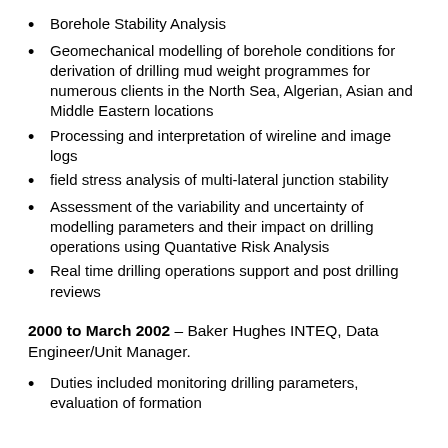Borehole Stability Analysis
Geomechanical modelling of borehole conditions for derivation of drilling mud weight programmes for numerous clients in the North Sea, Algerian, Asian and Middle Eastern locations
Processing and interpretation of wireline and image logs
field stress analysis of multi-lateral junction stability
Assessment of the variability and uncertainty of modelling parameters and their impact on drilling operations using Quantative Risk Analysis
Real time drilling operations support and post drilling reviews
2000 to March 2002 – Baker Hughes INTEQ, Data Engineer/Unit Manager.
Duties included monitoring drilling parameters, evaluation of formation